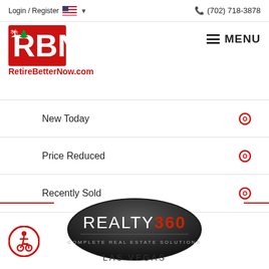Login / Register  (702) 718-3878
[Figure (logo): RBN RetireBetterNow.com logo with red text and palm tree house icon]
New Today
Price Reduced
Recently Sold
[Figure (logo): Realty360 Complete Real Estate Solutions Las Vegas oval logo with dark background]